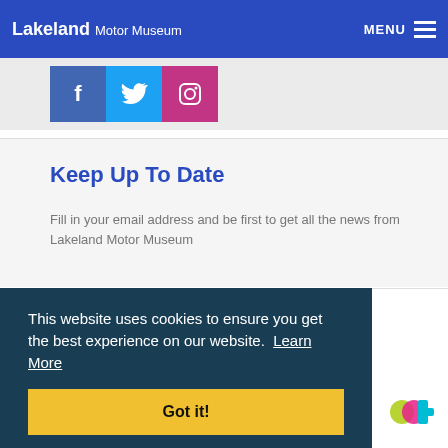Lakeland Motor Museum — MENU
[Figure (other): Social media icons: Facebook (blue), Twitter (cyan), Instagram (purple)]
Keep Up To Date
Fill in your email address and be first to get all the news from Lakeland Motor Museum
This website uses cookies to ensure you get the best experience on our website. Learn More
Got it!
[Figure (logo): ad logo — coloured letters 'a' (yellow-green) and 'd' (cyan) on white background]